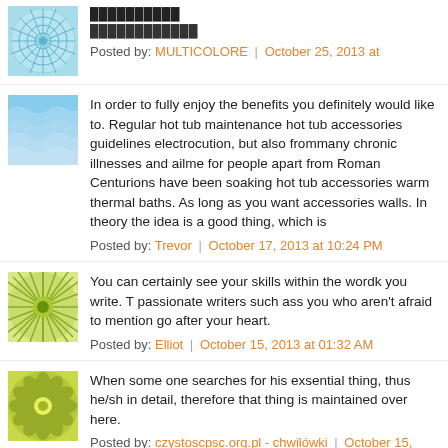Posted by: MULTICOLORE | October 25, 2013 at
In order to fully enjoy the benefits you definitely would like to. Regular hot tub maintenance hot tub accessories guidelines electrocution, but also frommany chronic illnesses and ailme for people apart from Roman Centurions have been soaking hot tub accessories warm thermal baths. As long as you want accessories walls. In theory the idea is a good thing, which is
Posted by: Trevor | October 17, 2013 at 10:24 PM
You can certainly see your skills within the wordk you write. T passionate writers such ass you who aren't afraid to mention go after your heart.
Posted by: Elliot | October 15, 2013 at 01:32 AM
When some one searches for his exsential thing, thus he/sh in detail, therefore that thing is maintained over here.
Posted by: czystoscpsc.org.pl - chwilówki | October 15, 2013 a